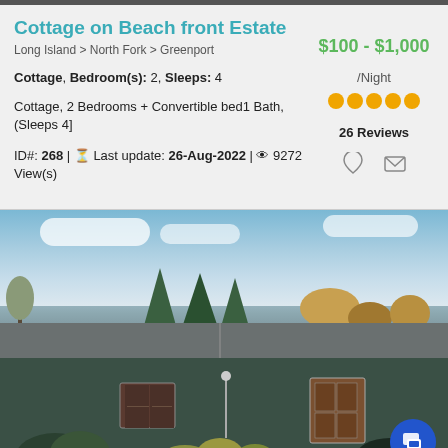Cottage on Beach front Estate
$100 - $1,000 /Night
Long Island > North Fork > Greenport
Cottage, Bedroom(s): 2, Sleeps: 4
Cottage, 2 Bedrooms + Convertible bed1 Bath, (Sleeps 4]
26 Reviews
ID#: 268 | Last update: 26-Aug-2022 | 9272 View(s)
[Figure (photo): Exterior photo of cottage showing roof, trees, and building facade]